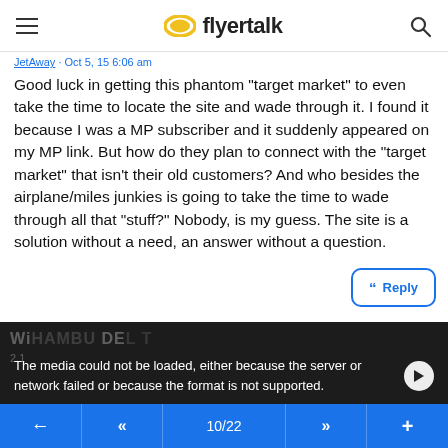flyertalk
JetAway · Oct 5, 15 6:06 am
Good luck in getting this phantom "target market" to even take the time to locate the site and wade through it. I found it because I was a MP subscriber and it suddenly appeared on my MP link. But how do they plan to connect with the "target market" that isn't their old customers? And who besides the airplane/miles junkies is going to take the time to wade through all that "stuff?" Nobody, is my guess. The site is a solution without a need, an answer without a question.
[Figure (screenshot): Reply button with quote icon, blue border]
[Figure (screenshot): Video player area showing error message: 'The media could not be loaded, either because the server or network failed or because the format is not supported.']
← « 10/22 » +